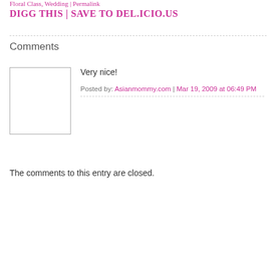Floral Class, Wedding | Permalink
DIGG THIS | SAVE TO DEL.ICIO.US
Comments
[Figure (photo): Avatar placeholder box, empty white square with border]
Very nice!
Posted by: Asianmommy.com | Mar 19, 2009 at 06:49 PM
The comments to this entry are closed.